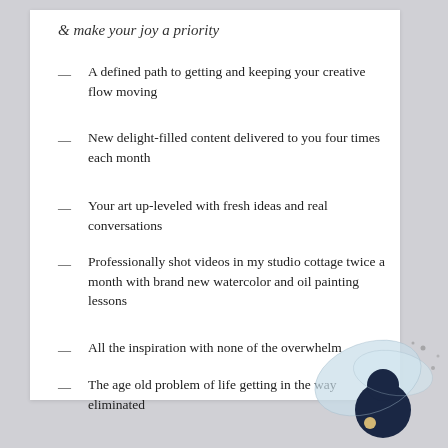& make your joy a priority
A defined path to getting and keeping your creative flow moving
New delight-filled content delivered to you four times each month
Your art up-leveled with fresh ideas and real conversations
Professionally shot videos in my studio cottage twice a month with brand new watercolor and oil painting lessons
All the inspiration with none of the overwhelm
The age old problem of life getting in the way eliminated
[Figure (illustration): Decorative illustration of a fairy/pixie character with wings, dark hair, in bottom right corner of page]